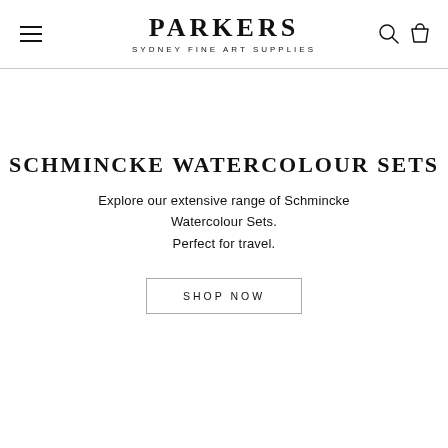PARKERS SYDNEY FINE ART SUPPLIES
SCHMINCKE WATERCOLOUR SETS
Explore our extensive range of Schmincke Watercolour Sets. Perfect for travel.
SHOP NOW